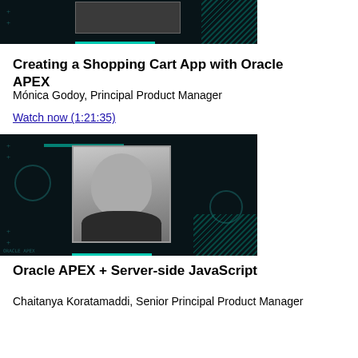[Figure (screenshot): Dark-themed video thumbnail with small portrait photo at top, Oracle APEX branding style with teal accents and hatching decorations]
Creating a Shopping Cart App with Oracle APEX
Mónica Godoy, Principal Product Manager
Watch now (1:21:35)
[Figure (screenshot): Dark-themed video thumbnail featuring a man smiling, wearing dark polo shirt, with Oracle APEX branding style, teal accents, circle decorations and hatching patterns]
Oracle APEX + Server-side JavaScript
Chaitanya Koratamaddi, Senior Principal Product Manager